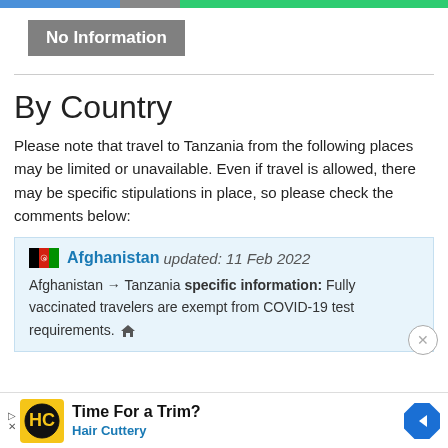No Information
By Country
Please note that travel to Tanzania from the following places may be limited or unavailable. Even if travel is allowed, there may be specific stipulations in place, so please check the comments below:
Afghanistan updated: 11 Feb 2022
Afghanistan → Tanzania specific information: Fully vaccinated travelers are exempt from COVID-19 test requirements.
[Figure (infographic): Advertisement banner for Hair Cuttery with logo and navigation icon]